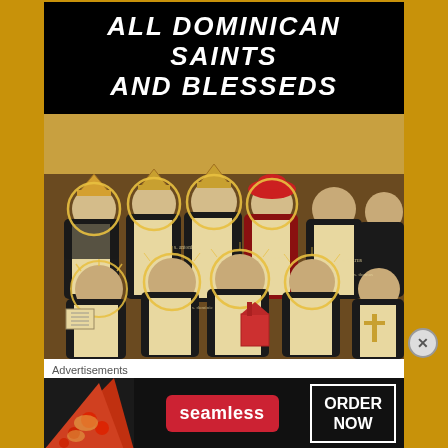ALL DOMINICAN SAINTS AND BLESSEDS
[Figure (illustration): Medieval painting depicting a group of Dominican saints and blesseds in black-and-white habits with golden halos, arranged in rows, some holding books, a church model, and a cross.]
Advertisements
[Figure (photo): Advertisement banner for Seamless food delivery service showing pizza slices on the left, a red Seamless button in the center, and an ORDER NOW box on the right, all on a dark background.]